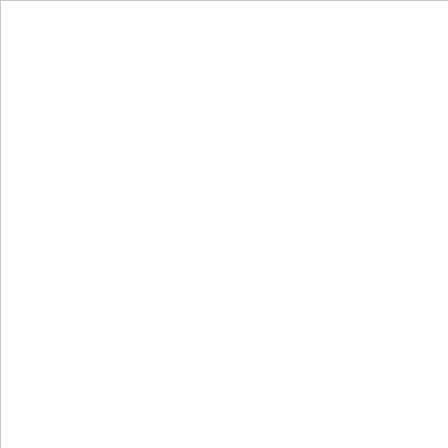[Figure (other): White content box / image area on the left, partially visible]
V
D
Edi
This is a creative escape game. It is so relaxing after a long day. It will make you feel refreshed worries. You will just focus on rescuing your hos worries and problems. You will find that it is the time. You would like to spend several hours in a creative and unique puzzle game is so addictive again and again.
Actually, it is not that kind of challenging. If yo